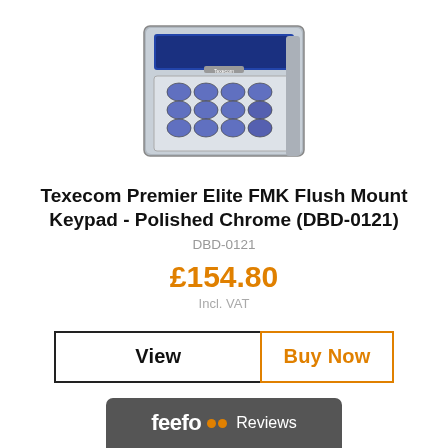[Figure (photo): Texecom Premier Elite FMK Flush Mount Keypad in Polished Chrome finish, showing keypad with LCD display and numeric buttons]
Texecom Premier Elite FMK Flush Mount Keypad - Polished Chrome (DBD-0121)
DBD-0121
£154.80
Incl. VAT
View
Buy Now
[Figure (logo): Feefo Reviews logo on dark grey bar at bottom of page]